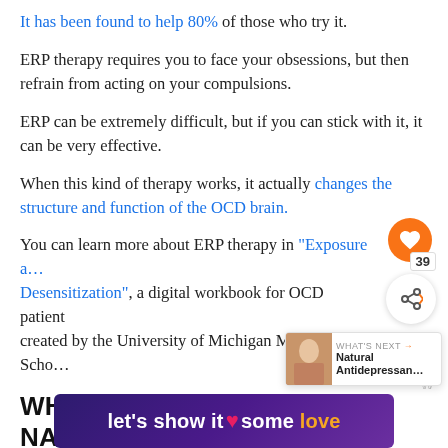It has been found to help 80% of those who try it.
ERP therapy requires you to face your obsessions, but then refrain from acting on your compulsions.
ERP can be extremely difficult, but if you can stick with it, it can be very effective.
When this kind of therapy works, it actually changes the structure and function of the OCD brain.
You can learn more about ERP therapy in "Exposure and Desensitization", a digital workbook for OCD patients created by the University of Michigan Medical School.
WHY CONSIDER NATURAL REMEDIES FOR OCD?
Not everyone who tries drugs or psychotherapy achieves long-term...